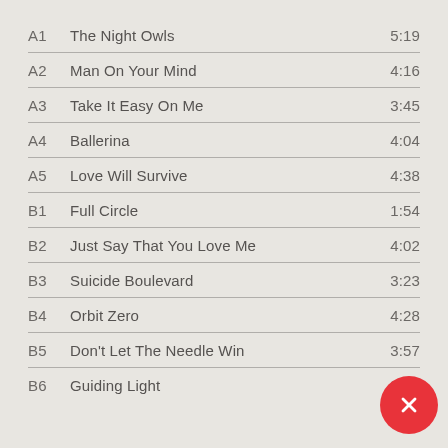A1  The Night Owls  5:19
A2  Man On Your Mind  4:16
A3  Take It Easy On Me  3:45
A4  Ballerina  4:04
A5  Love Will Survive  4:38
B1  Full Circle  1:54
B2  Just Say That You Love Me  4:02
B3  Suicide Boulevard  3:23
B4  Orbit Zero  4:28
B5  Don't Let The Needle Win  3:57
B6  Guiding Light  3:34
[Figure (illustration): Red circular close/cancel button with white X symbol in bottom-right corner]